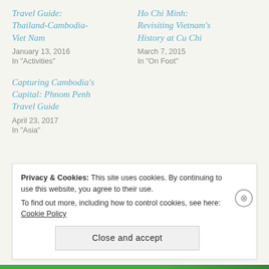Travel Guide: Thailand-Cambodia-Viet Nam
January 13, 2016
In "Activities"
Ho Chi Minh: Revisiting Vietnam's History at Cu Chi
March 7, 2015
In "On Foot"
Capturing Cambodia's Capital: Phnom Penh Travel Guide
April 23, 2017
In "Asia"
Posted in Uncategorized
Privacy & Cookies: This site uses cookies. By continuing to use this website, you agree to their use. To find out more, including how to control cookies, see here: Cookie Policy
Close and accept